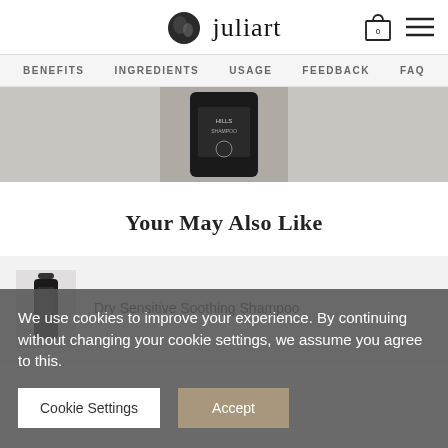juliart
BENEFITS   INGREDIENTS   USAGE   FEEDBACK   FAQ
[Figure (photo): Close-up photo of a dark shampoo bottle with label on a light fabric background]
Your May Also Like
[Figure (photo): Small dark shampoo bottle product image]
Dry Sensitive Soothing Shampoo
We use cookies to improve your experience. By continuing without changing your cookie settings, we assume you agree to this.